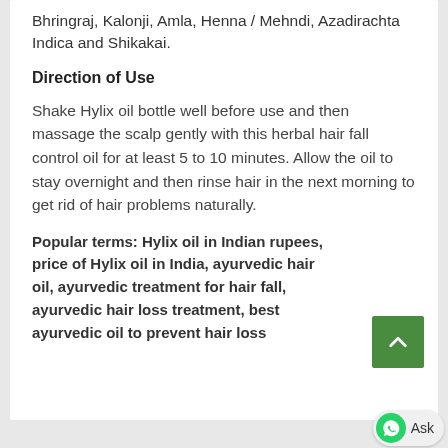Bhringraj, Kalonji, Amla, Henna / Mehndi, Azadirachta Indica and Shikakai.
Direction of Use
Shake Hylix oil bottle well before use and then massage the scalp gently with this herbal hair fall control oil for at least 5 to 10 minutes. Allow the oil to stay overnight and then rinse hair in the next morning to get rid of hair problems naturally.
Popular terms: Hylix oil in Indian rupees, price of Hylix oil in India, ayurvedic hair oil, ayurvedic treatment for hair fall, ayurvedic hair loss treatment, best ayurvedic oil to prevent hair loss